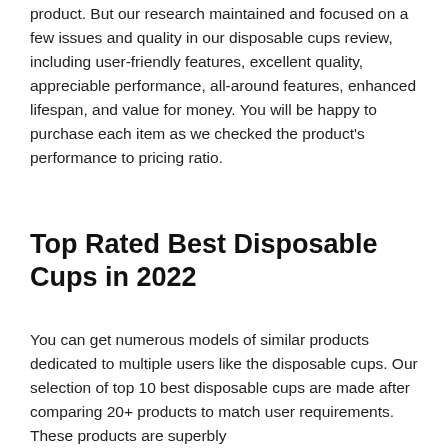product. But our research maintained and focused on a few issues and quality in our disposable cups review, including user-friendly features, excellent quality, appreciable performance, all-around features, enhanced lifespan, and value for money. You will be happy to purchase each item as we checked the product's performance to pricing ratio.
Top Rated Best Disposable Cups in 2022
You can get numerous models of similar products dedicated to multiple users like the disposable cups. Our selection of top 10 best disposable cups are made after comparing 20+ products to match user requirements. These products are superbly